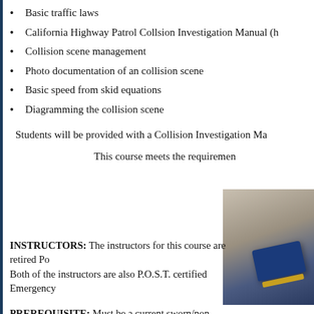Basic traffic laws
California Highway Patrol Collsion Investigation Manual (h...
Collision scene management
Photo documentation of an collision scene
Basic speed from skid equations
Diagramming the collision scene
Students will be provided with a Collision Investigation Ma...
This course meets the requiremen...
[Figure (photo): Photo of a blue measuring tape or similar equipment on a wooden surface, used in collision investigation.]
INSTRUCTORS: The instructors for this course are retired Po... Both of the instructors are also P.O.S.T. certified Emergency...
PREREQUISITE: Must be a current sworn/non-sworn membe... investigation.